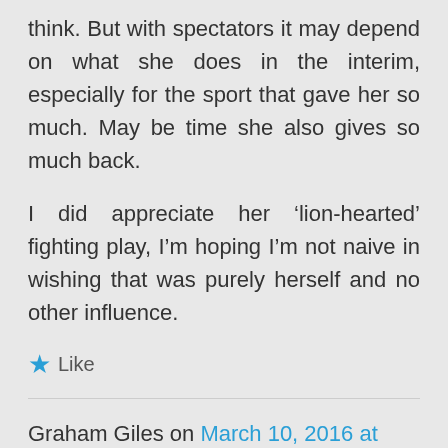think. But with spectators it may depend on what she does in the interim, especially for the sport that gave her so much. May be time she also gives so much back.
I did appreciate her 'lion-hearted' fighting play, I'm hoping I'm not naive in wishing that was purely herself and no other influence.
★ Like
Graham Giles on March 10, 2016 at 11:09 am